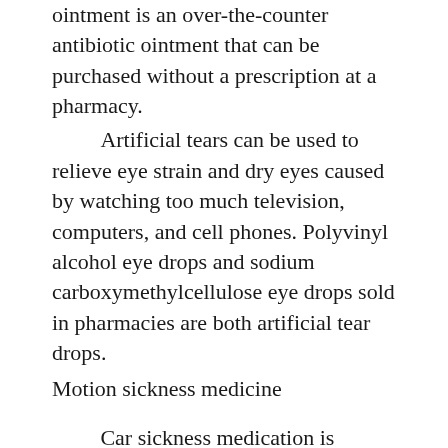ointment is an over-the-counter antibiotic ointment that can be purchased without a prescription at a pharmacy.
Artificial tears can be used to relieve eye strain and dry eyes caused by watching too much television, computers, and cell phones. Polyvinyl alcohol eye drops and sodium carboxymethylcellulose eye drops sold in pharmacies are both artificial tear drops.
Motion sickness medicine
Car sickness medication is recommended to be “Chabenheimer”.
Non-pharmaceutical measures are usually preferred to prevent motion sickness, including eating a light diet 24 hours before the ride and avoiding high-fat meals; sitting in the front seat of the car as much as possible and seeing the direction of the car through the windshield; leaning your head on the seat with your eyes